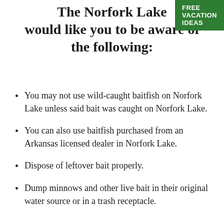FREE VACATION IDEAS
The Norfork Lake would like you to be aware of the following:
You may not use wild-caught baitfish on Norfork Lake unless said bait was caught on Norfork Lake.
You can also use baitfish purchased from an Arkansas licensed dealer in Norfork Lake.
Dispose of leftover bait properly.
Dump minnows and other live bait in their original water source or in a trash receptacle.